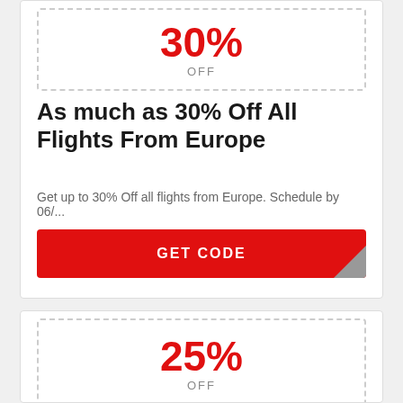30% OFF
As much as 30% Off All Flights From Europe
Get up to 30% Off all flights from Europe. Schedule by 06/...
› 7 times used
GET CODE
25% OFF
Up to 25% Off Booking From